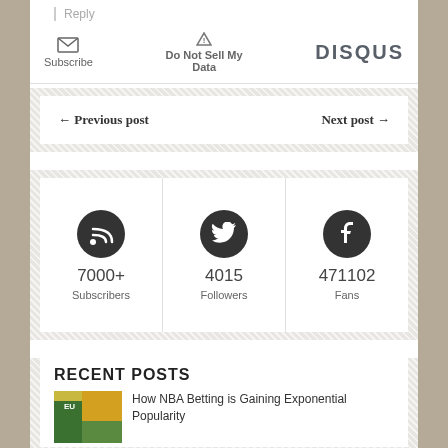↑  Reply
Subscribe  ▲ Do Not Sell My Data  DISQUS
← Previous post   Next post →
[Figure (infographic): Social stats widget showing RSS (7000+ Subscribers), Twitter (4015 Followers), Facebook (471102 Fans)]
RECENT POSTS
How NBA Betting is Gaining Exponential Popularity